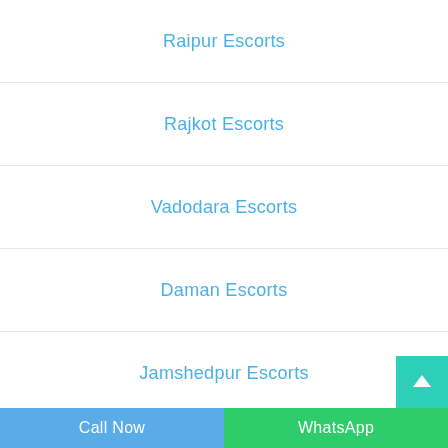Raipur Escorts
Rajkot Escorts
Vadodara Escorts
Daman Escorts
Jamshedpur Escorts
Bhubaneswar Escorts
Varanasi Escorts
Call Now | WhatsApp